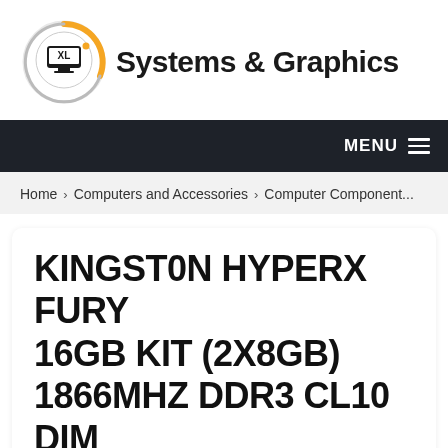[Figure (logo): XL Systems & Graphics logo with orange circular swoosh and monitor icon, followed by bold text 'Systems & Graphics']
MENU
Home > Computers and Accessories > Computer Component...
KINGSTON HYPERX FURY 16GB KIT (2X8GB) 1866MHZ DDR3 CL10 DIM